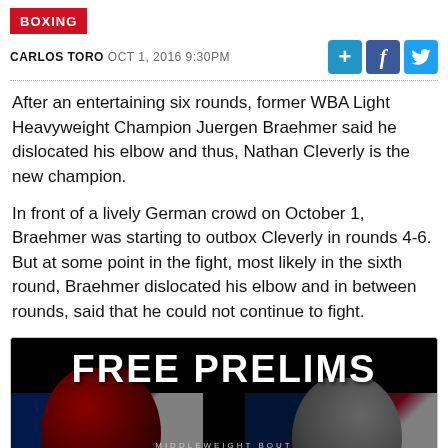BOXING
CARLOS TORO OCT 1, 2016 9:30PM
After an entertaining six rounds, former WBA Light Heavyweight Champion Juergen Braehmer said he dislocated his elbow and thus, Nathan Cleverly is the new champion.
In front of a lively German crowd on October 1, Braehmer was starting to outbox Cleverly in rounds 4-6. But at some point in the fight, most likely in the sixth round, Braehmer dislocated his elbow and in between rounds, said that he could not continue to fight.
[Figure (photo): Advertisement image for boxing event showing FREE PRELIMS text with MVP vs PLATINUM fighters]